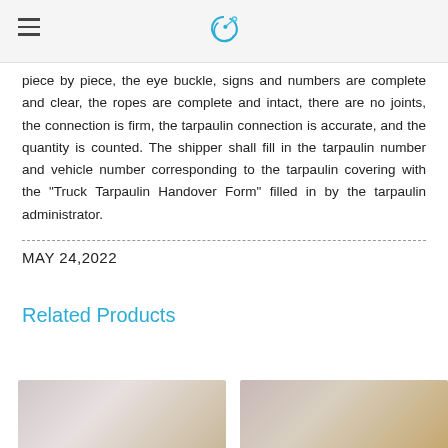[Logo]
piece by piece, the eye buckle, signs and numbers are complete and clear, the ropes are complete and intact, there are no joints, the connection is firm, the tarpaulin connection is accurate, and the quantity is counted. The shipper shall fill in the tarpaulin number and vehicle number corresponding to the tarpaulin covering with the "Truck Tarpaulin Handover Form" filled in by the tarpaulin administrator.
MAY 24,2022
Related Products
[Figure (photo): Product image left - beige/cream colored object on light background]
[Figure (photo): Product image right - beige/tan colored object on light background]